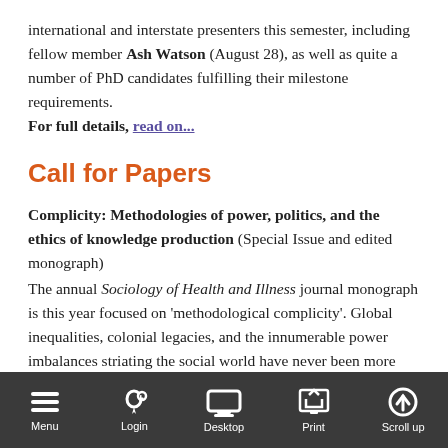international and interstate presenters this semester, including fellow member Ash Watson (August 28), as well as quite a number of PhD candidates fulfilling their milestone requirements. For full details, read on...
Call for Papers
Complicity: Methodologies of power, politics, and the ethics of knowledge production (Special Issue and edited monograph)
The annual Sociology of Health and Illness journal monograph is this year focused on 'methodological complicity'. Global inequalities, colonial legacies, and the innumerable power imbalances striating the social world have never been more pertinent to social studies of health and illness.
Submission deadline: August 1. Read on...
Menu | Login | Desktop | Print | Scroll up